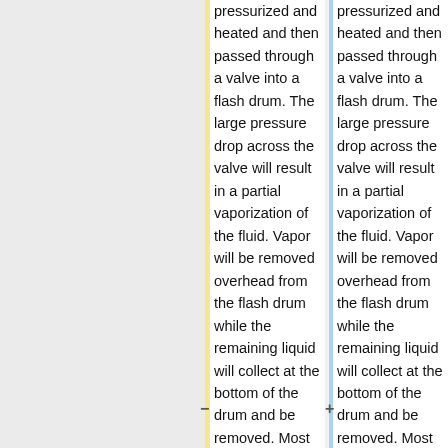pressurized and heated and then passed through a valve into a flash drum. The large pressure drop across the valve will result in a partial vaporization of the fluid. Vapor will be removed overhead from the flash drum while the remaining liquid will collect at the bottom of the drum and be removed. Most flash drums will contain an entrainment eliminator which is a screen that
pressurized and heated and then passed through a valve into a flash drum. The large pressure drop across the valve will result in a partial vaporization of the fluid. Vapor will be removed overhead from the flash drum while the remaining liquid will collect at the bottom of the drum and be removed. Most flash drums will contain an entrainment eliminator which is a screen that